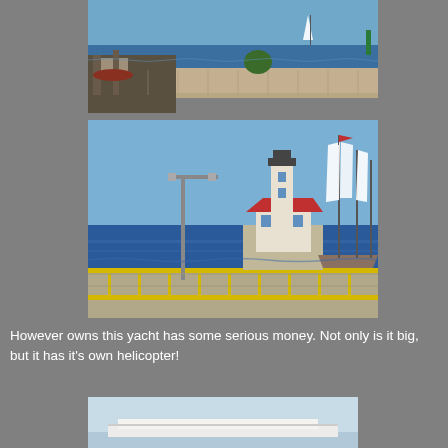[Figure (photo): Harbor scene with a sailboat in the distance on blue water, a rocky breakwater with a tree, and dock/marina equipment visible on the left.]
[Figure (photo): Chicago harbor lighthouse with red roof on a stone pier, a large tall ship with white sails sailing past, blue water and sky, with a yellow-railed concrete pier/dock in the foreground and a street lamp.]
However owns this yacht has some serious money. Not only is it big, but it has it's own helicopter!
[Figure (photo): Partial view of a large white yacht or ship on light blue water.]